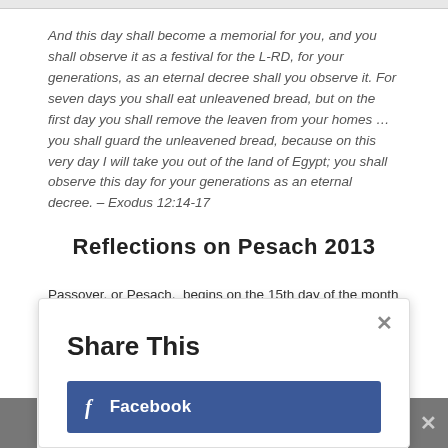And this day shall become a memorial for you, and you shall observe it as a festival for the L-RD, for your generations, as an eternal decree shall you observe it. For seven days you shall eat unleavened bread, but on the first day you shall remove the leaven from your homes … you shall guard the unleavened bread, because on this very day I will take you out of the land of Egypt; you shall observe this day for your generations as an eternal decree. – Exodus 12:14-17
Reflections on Pesach 2013
Passover, or Pesach,  begins on the 15th day of the month of Nissan (E'rev Pesach falls on  April 14th this year, lasting for 8 days in diaspora until sundown of April 22nd).Below is our heart warming home video put together by our son and our grand...
Share This
Share this post with your friends!
Facebook